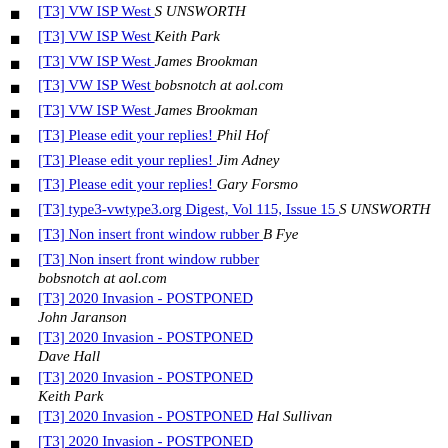[T3] VW ISP West  S UNSWORTH
[T3] VW ISP West  Keith Park
[T3] VW ISP West  James Brookman
[T3] VW ISP West  bobsnotch at aol.com
[T3] VW ISP West  James Brookman
[T3] Please edit your replies!  Phil Hof
[T3] Please edit your replies!  Jim Adney
[T3] Please edit your replies!  Gary Forsmo
[T3] type3-vwtype3.org Digest, Vol 115, Issue 15  S UNSWORTH
[T3] Non insert front window rubber  B Fye
[T3] Non insert front window rubber  bobsnotch at aol.com
[T3] 2020 Invasion - POSTPONED  John Jaranson
[T3] 2020 Invasion - POSTPONED  Dave Hall
[T3] 2020 Invasion - POSTPONED  Keith Park
[T3] 2020 Invasion - POSTPONED  Hal Sullivan
[T3] 2020 Invasion - POSTPONED  Keith Park